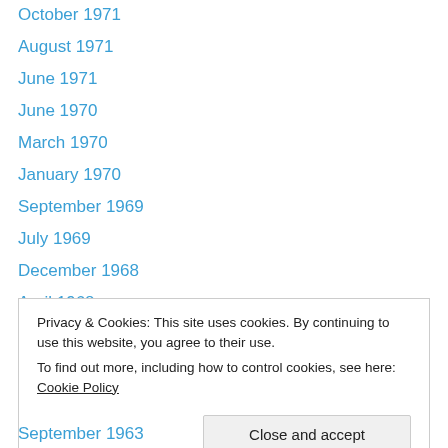October 1971
August 1971
June 1971
June 1970
March 1970
January 1970
September 1969
July 1969
December 1968
April 1968
December 1967
November 1967
January 1967
Privacy & Cookies: This site uses cookies. By continuing to use this website, you agree to their use. To find out more, including how to control cookies, see here: Cookie Policy
September 1963